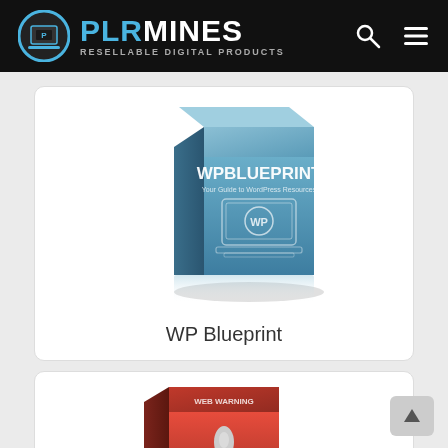PLRMINES — Resellable Digital Products
[Figure (screenshot): Blue 3D box product image for WP Blueprint — Your Guide to WordPress Resources, showing a laptop icon with WP circle logo]
WP Blueprint
[Figure (screenshot): Red 3D box product image partially visible at bottom, showing a stylized flower/shield emblem, product title appears to read Web Warning or similar]